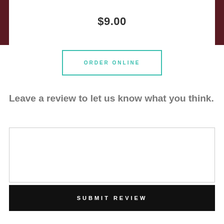$9.00
ORDER ONLINE
Leave a review to let us know what you think.
SUBMIT REVIEW